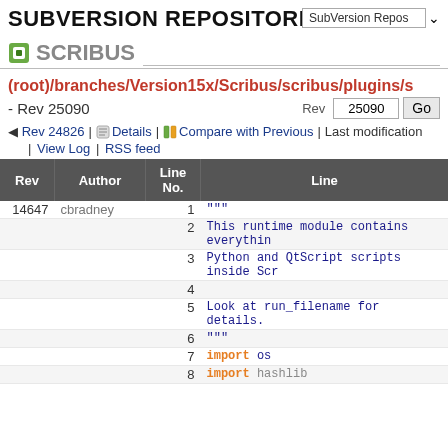SUBVERSION REPOSITORIES
SCRIBUS
(root)/branches/Version15x/Scribus/scribus/plugins/s - Rev 25090
Rev 24826 | Details | Compare with Previous | Last modification | View Log | RSS feed
| Rev | Author | Line No. | Line |
| --- | --- | --- | --- |
| 14647 | cbradney | 1 | """ |
|  |  | 2 | This runtime module contains everythin |
|  |  | 3 | Python and QtScript scripts inside Scr |
|  |  | 4 |  |
|  |  | 5 | Look at run_filename for details. |
|  |  | 6 | """ |
|  |  | 7 | import os |
|  |  | 8 | import hashlib |